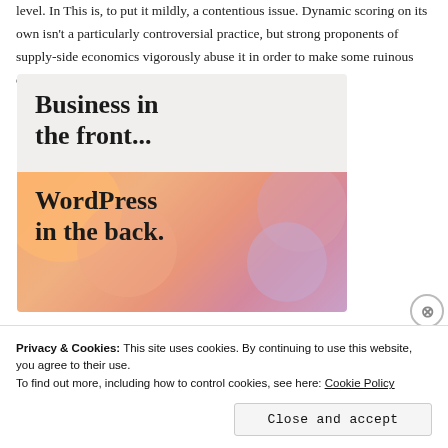level. In This is, to put it mildly, a contentious issue. Dynamic scoring on its own isn't a particularly controversial practice, but strong proponents of supply-side economics vigorously abuse it in order to make some ruinous economic proposals seem palatable.
[Figure (illustration): Advertisement image with two sections: a light gray top area with bold text 'Business in the front...' and a colorful bottom section with peach/orange/pink gradient blobs and bold text 'WordPress in the back.']
Privacy & Cookies: This site uses cookies. By continuing to use this website, you agree to their use.
To find out more, including how to control cookies, see here: Cookie Policy
Close and accept